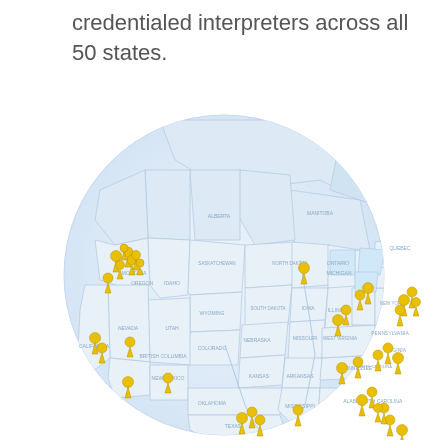credentialed interpreters across all 50 states.
[Figure (map): Globe/orthographic map of North America showing yellow person-pin markers representing credentialed interpreters distributed across the United States, with Canadian provinces labeled (British Columbia, Alberta, Saskatchewan, Manitoba, Ontario, Quebec) and US states labeled. Markers are concentrated heavily on the West Coast (Washington/Oregon/California), the Southeast, and the Mid-Atlantic/Northeast regions.]